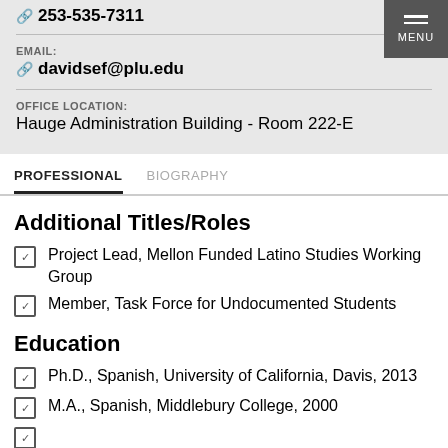253-535-7311
EMAIL:
davidsef@plu.edu
OFFICE LOCATION:
Hauge Administration Building - Room 222-E
PROFESSIONAL | BIOGRAPHY
Additional Titles/Roles
Project Lead, Mellon Funded Latino Studies Working Group
Member, Task Force for Undocumented Students
Education
Ph.D., Spanish, University of California, Davis, 2013
M.A., Spanish, Middlebury College, 2000